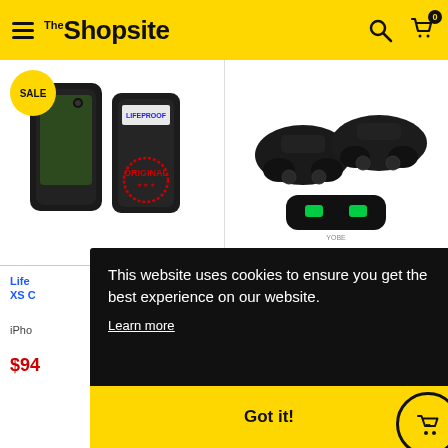The Shopsite
[Figure (photo): LifeProof phone case (black) shown with original branding and stamp, and a PS4 dual controller charging dock with green LED indicators]
LifeProof ... XS ...
iPho...
$9...
This website uses cookies to ensure you get the best experience on our website.
Learn more
Got it!